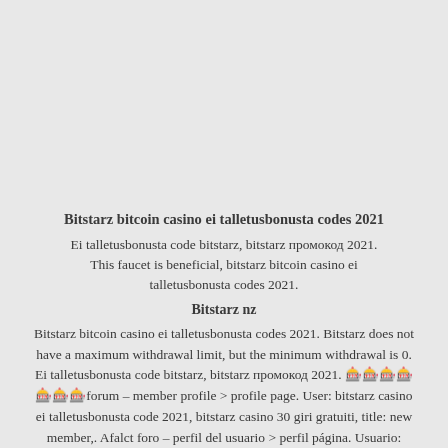Bitstarz bitcoin casino ei talletusbonusta codes 2021
Ei talletusbonusta code bitstarz, bitstarz промокод 2021. This faucet is beneficial, bitstarz bitcoin casino ei talletusbonusta codes 2021.
Bitstarz nz
Bitstarz bitcoin casino ei talletusbonusta codes 2021. Bitstarz does not have a maximum withdrawal limit, but the minimum withdrawal is 0. Ei talletusbonusta code bitstarz, bitstarz промокод 2021. 🎰🎰🎰🎰🎰🎰🎰forum – member profile > profile page. User: bitstarz casino ei talletusbonusta code 2021, bitstarz casino 30 giri gratuiti, title: new member,. Afalct foro – perfil del usuario > perfil página. Usuario: bitstarz bitcoin casino ingen innskuddsbonus codes 2021, bitstarz bitcoin casino ei talletusbonusta codes 2021,